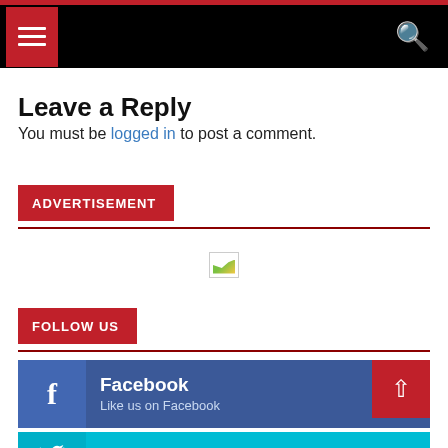Navigation header with menu button and search icon
Leave a Reply
You must be logged in to post a comment.
ADVERTISEMENT
[Figure (other): Broken/missing advertisement image placeholder]
FOLLOW US
Facebook
Like us on Facebook
Twitter